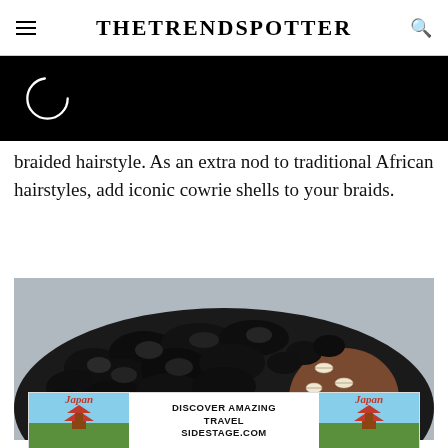TheTrendSpotter
[Figure (photo): Loading spinner arc on black background]
braided hairstyle. As an extra nod to traditional African hairstyles, add iconic cowrie shells to your braids.
[Figure (photo): Close-up overhead view of a person with dark box braids adorned with cowrie shells]
[Figure (other): Japan travel advertisement banner with 'DISCOVER AMAZING TRAVEL SIDESTAGE.COM' text and Japan pagoda imagery on both sides]